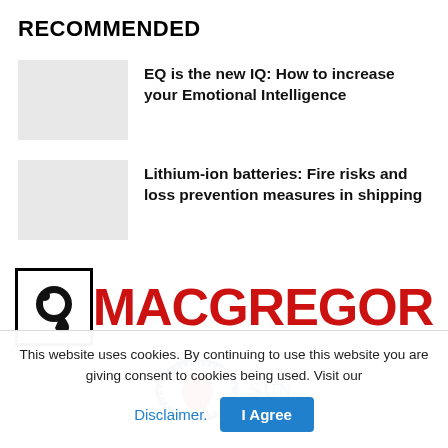RECOMMENDED
EQ is the new IQ: How to increase your Emotional Intelligence
Lithium-ion batteries: Fire risks and loss prevention measures in shipping
[Figure (logo): MacGregor logo: black square with stylized ram head icon, followed by MACGREGOR in large red bold text]
[Figure (logo): Sun logo: circular emblem with blue Greek-key border pattern and red figure inside, with 'SUN' text in blue serif font]
This website uses cookies. By continuing to use this website you are giving consent to cookies being used. Visit our
Disclaimer.
I Agree